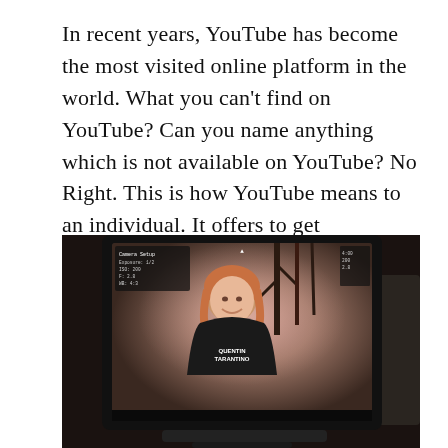In recent years, YouTube has become the most visited online platform in the world. What you can't find on YouTube? Can you name anything which is not available on YouTube? No Right. This is how YouTube means to an individual. It offers to get entertained by listening and watching their liked songs and movies.
[Figure (photo): A camera monitor screen showing a woman with short reddish-blonde hair wearing a black t-shirt that reads 'Quentin Tarantino', set against a blurred background with dark branch-like shapes. The monitor displays camera settings/metadata in the upper left corner.]